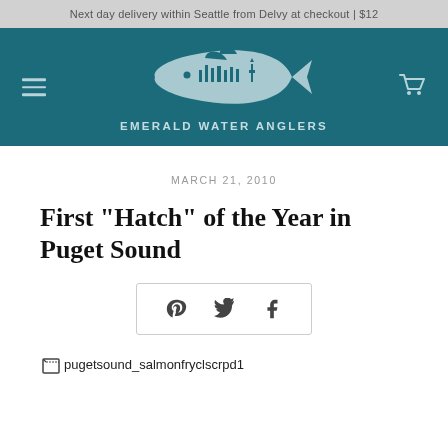Next day delivery within Seattle from Delvy at checkout | $12
[Figure (logo): Emerald Water Anglers logo — salmon fish silhouette with Seattle skyline inside, teal background, text EMERALD WATER ANGLERS below]
MARCH 21, 2010
First "Hatch" of the Year in Puget Sound
[Figure (infographic): Social share buttons box with Pinterest, Twitter, and Facebook icons]
[Figure (photo): Broken image placeholder: pugetsound_salmonfryclscrpd1]